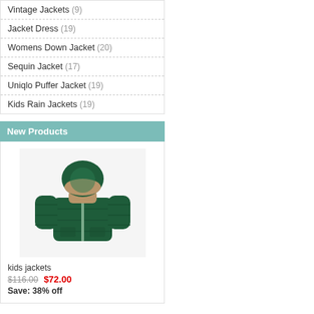Vintage Jackets (9)
Jacket Dress (19)
Womens Down Jacket (20)
Sequin Jacket (17)
Uniqlo Puffer Jacket (19)
Kids Rain Jackets (19)
New Products
[Figure (photo): A dark green kids' hooded puffer jacket with fur-trimmed hood, displayed on a white background.]
kids jackets
$116.00   $72.00
Save: 38% off